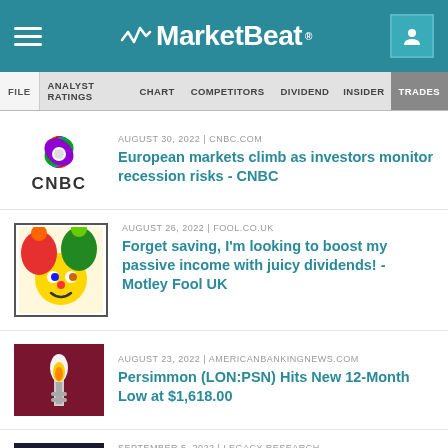MarketBeat
FILE | ANALYST RATINGS | CHART | COMPETITORS | DIVIDEND | INSIDER TRADES
AUGUST 30, 2022 | CNBC.COM
European markets climb as investors monitor recession risks - CNBC
AUGUST 26, 2022 | FOOL.CO.UK
Forget saving, I'm looking to boost my passive income with juicy dividends! - Motley Fool UK
AUGUST 23, 2022 | AMERICANBANKINGNEWS.COM
Persimmon (LON:PSN) Hits New 12-Month Low at $1,618.00
SEPTEMBER 5, 2022 | LEGACY RESEARCH (AFFILIATE) (AD)
Sell every Stock except ONE